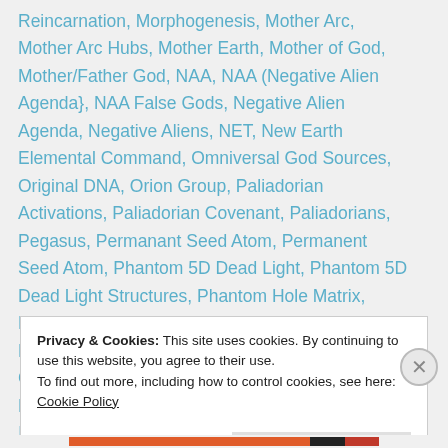Reincarnation, Morphogenesis, Mother Arc, Mother Arc Hubs, Mother Earth, Mother of God, Mother/Father God, NAA, NAA (Negative Alien Agenda}, NAA False Gods, Negative Alien Agenda, Negative Aliens, NET, New Earth Elemental Command, Omniversal God Sources, Original DNA, Orion Group, Paliadorian Activations, Paliadorian Covenant, Paliadorians, Pegasus, Permanant Seed Atom, Permanent Seed Atom, Phantom 5D Dead Light, Phantom 5D Dead Light Structures, Phantom Hole Matrix, Phantom Matrix, Planetary Grid, Planetary Logos, Planetary Staff, Plasma, Plasma Wave, RA Confederacy, Ray Aspects, Re-Encryption, Re-Encryption Codes, Re-Encryption Project, Religion, Religions, Religious
Privacy & Cookies: This site uses cookies. By continuing to use this website, you agree to their use.
To find out more, including how to control cookies, see here: Cookie Policy
Close and accept